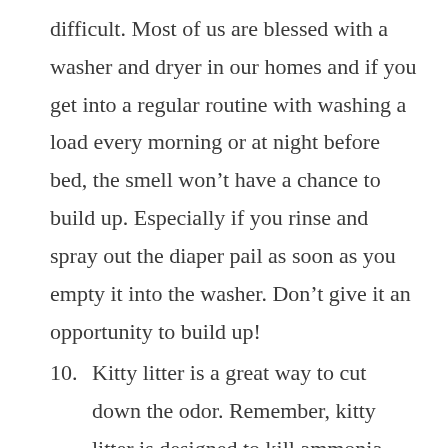difficult. Most of us are blessed with a washer and dryer in our homes and if you get into a regular routine with washing a load every morning or at night before bed, the smell won’t have a chance to build up. Especially if you rinse and spray out the diaper pail as soon as you empty it into the washer. Don’t give it an opportunity to build up!
10. Kitty litter is a great way to cut down the odor. Remember, kitty litter is designed to kill ammonia odor. It’s a perfect solution for cutting the stink down in a diaper pail. Line the bottom of the diaper pail with it and it will not only cut the odor but it will absorb any moisture in the